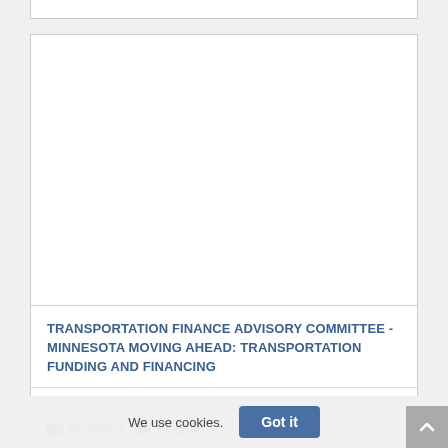[Figure (other): White rectangular area representing an image placeholder within a card layout]
TRANSPORTATION FINANCE ADVISORY COMMITTEE - MINNESOTA MOVING AHEAD: TRANSPORTATION FUNDING AND FINANCING
Business   English